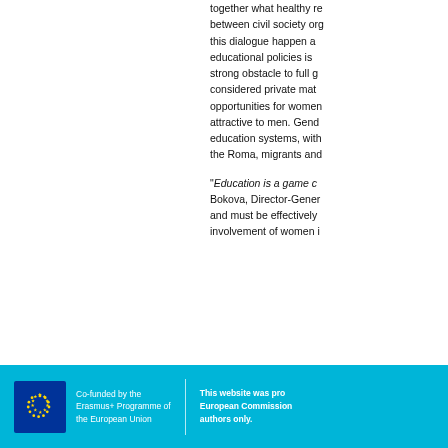together what healthy re between civil society org this dialogue happen a educational policies is strong obstacle to full g considered private mat opportunities for women attractive to men. Gen education systems, with the Roma, migrants and
"Education is a game c Bokova, Director-Gener and must be effectively involvement of women i
Co-funded by the Erasmus+ Programme of the European Union | This website was pro European Commission authors only.